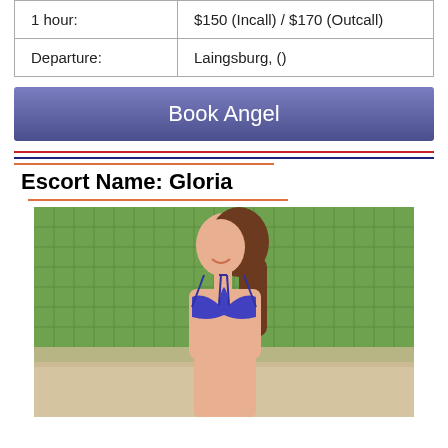| 1 hour: | $150 (Incall) / $170 (Outcall) |
| Departure: | Laingsburg, () |
Book Angel
Escort Name: Gloria
[Figure (photo): Photo of a woman in a blue bikini top at a beach with a green net in the background]